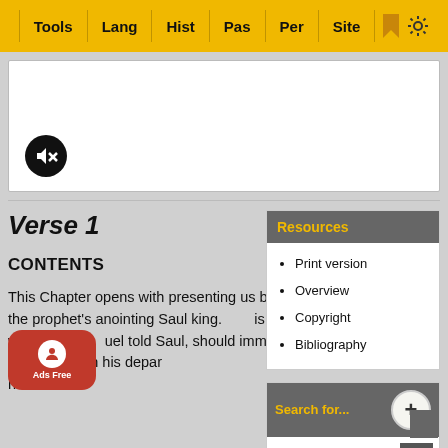Tools | Lang | Hist | Pas | Per | Site
[Figure (screenshot): White content box with a mute/speaker button (black circle with speaker icon crossed out) in the lower left]
Verse 1
CONTENTS
This Chapter opens with presenting us by a view of the prophet's anointing Saul king. [This] is followed with tokens [Sam]uel told Saul, should immediately take place. on his depar[ture] home
Resources
Print version
Overview
Copyright
Bibliography
Search for...